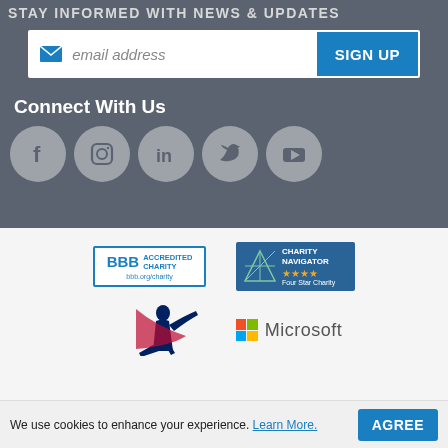STAY INFORMED WITH NEWS & UPDATES
[Figure (screenshot): Email signup form with blue envelope icon, italic placeholder text 'email address', and blue SIGN UP button]
Connect With Us
[Figure (infographic): Five social media icon circles: Facebook, Instagram, LinkedIn, Twitter, YouTube]
[Figure (logo): BBB Accredited Charity badge with bbb.org/charity URL]
[Figure (logo): Charity Navigator Four Star Charity badge with star icons]
[Figure (logo): MLB (Major League Baseball) silhouette batter logo in blue and red]
[Figure (logo): Microsoft logo with four colored squares and Microsoft text]
We use cookies to enhance your experience. Learn More.